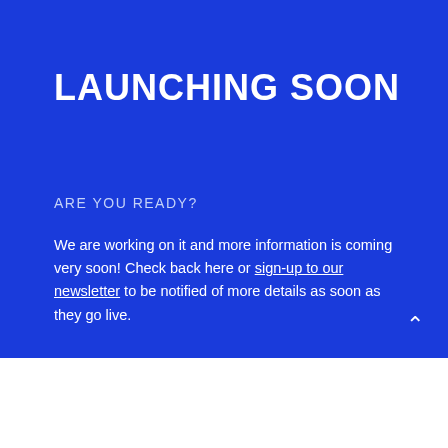LAUNCHING SOON
ARE YOU READY?
We are working on it and more information is coming very soon! Check back here or sign-up to our newsletter to be notified of more details as soon as they go live.